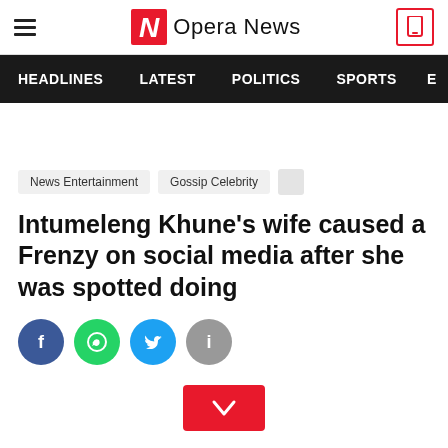Opera News
HEADLINES   LATEST   POLITICS   SPORTS   E
News Entertainment   Gossip Celebrity
Intumeleng Khune's wife caused a Frenzy on social media after she was spotted doing
[Figure (infographic): Social share buttons: Facebook (blue), WhatsApp (green), Twitter (cyan), Info (gray)]
[Figure (infographic): Red scroll-down chevron button]